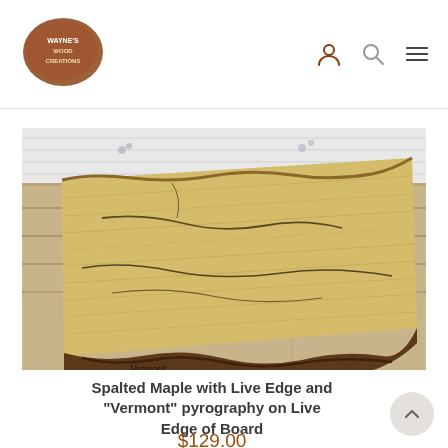Wayne's Wood Creations — navigation header with logo and icons
[Figure (photo): A spalted maple wood board with live edge, showing natural grain patterns and dark spalting lines, photographed on a rustic wooden surface background with white paneling visible behind it. The word 'Vermont' appears to be burned (pyrography) along the live edge of the board.]
Spalted Maple with Live Edge and "Vermont" pyrography on Live Edge of Board
$129.00